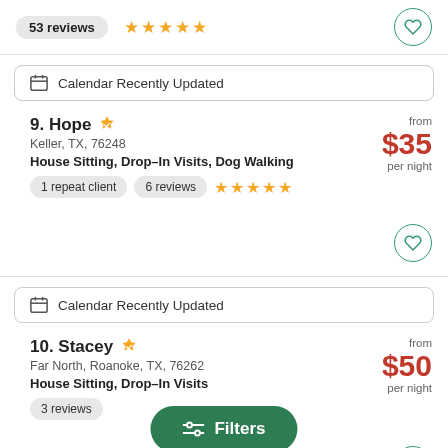53 reviews ★★★★★
Calendar Recently Updated
9. Hope — Keller, TX, 76248 — House Sitting, Drop-In Visits, Dog Walking — from $35 per night — 1 repeat client — 6 reviews ★★★★★
Calendar Recently Updated
10. Stacey — Far North, Roanoke, TX, 76262 — House Sitting, Drop-In Visits — from $50 per night — 3 reviews
Filters